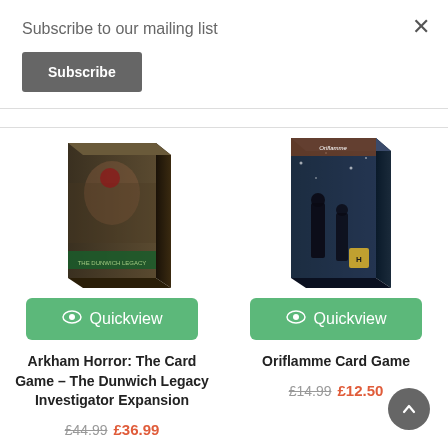Subscribe to our mailing list
Subscribe
[Figure (photo): Box art for Arkham Horror: The Card Game – The Dunwich Legacy Investigator Expansion]
[Figure (photo): Box art for Oriflamme Card Game]
Quickview
Quickview
Arkham Horror: The Card Game – The Dunwich Legacy Investigator Expansion
£44.99  £36.99
Oriflamme Card Game
£14.99  £12.50